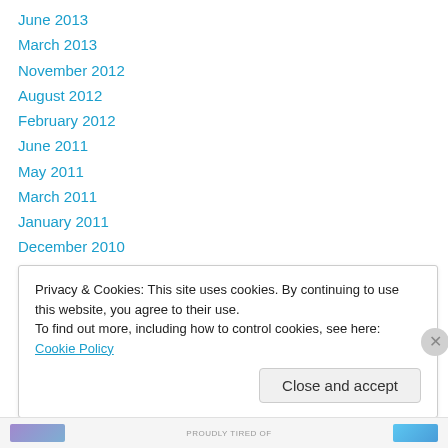June 2013
March 2013
November 2012
August 2012
February 2012
June 2011
May 2011
March 2011
January 2011
December 2010
November 2010
March 2009
February 2009
Privacy & Cookies: This site uses cookies. By continuing to use this website, you agree to their use.
To find out more, including how to control cookies, see here: Cookie Policy
Close and accept